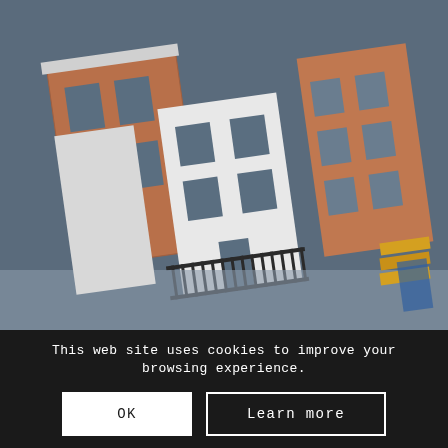[Figure (illustration): Aerial or tilted view of residential buildings/townhouses with brick facades, windows, iron fencing, and a blue-grey overlay tint. Buildings appear to be rendered in a 3D or isometric style.]
This web site uses cookies to improve your browsing experience.
OK
Learn more